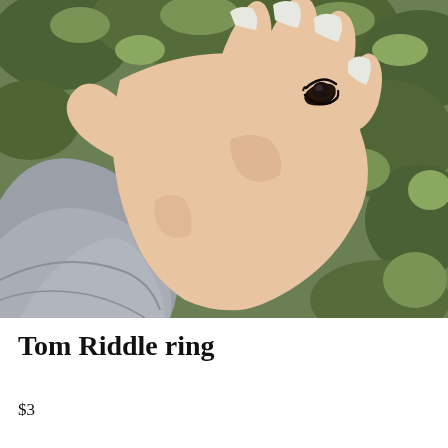[Figure (photo): A hand wearing a black macrame-style ring with a dark stone (Tom Riddle ring), shown against a green leafy hedge background. The hand belongs to a person wearing a grey long-sleeve sweater with white painted nails.]
Tom Riddle ring
$3